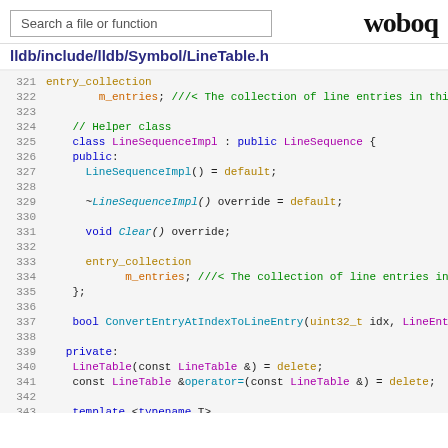Search a file or function | woboq
lldb/include/lldb/Symbol/LineTable.h
321  entry_collection
322      m_entries; ///< The collection of line entries in this
323
324  // Helper class
325  class LineSequenceImpl : public LineSequence {
326  public:
327    LineSequenceImpl() = default;
328
329    ~LineSequenceImpl() override = default;
330
331    void Clear() override;
332
333    entry_collection
334        m_entries; ///< The collection of line entries in this
335  };
336
337  bool ConvertEntryAtIndexToLineEntry(uint32_t idx, LineEntry
338
339 private:
340   LineTable(const LineTable &) = delete;
341   const LineTable &operator=(const LineTable &) = delete;
342
343   template <typename T>
344   uint32_t FindLineEntryIndexByFileIndexImpl(
345       uint32_t start_idx, T file_idx,
346       const SourceLocationSpec &src_location_spec, LineEntry